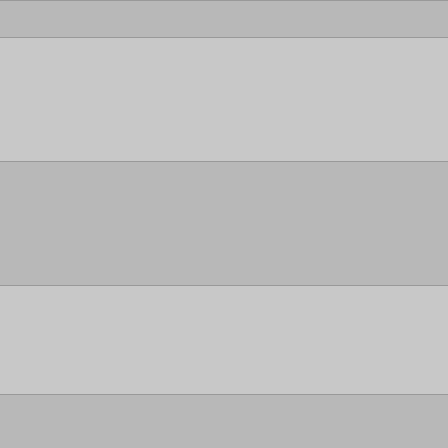|  | NC Accession | Gene | Description |
| --- | --- | --- | --- |
| ☐ | NC_010656 SbB3512_L0173 |  | ACP deh... |
| ☐ | NC_007484 | Noc_0818 | Beta-hydroxyacyl-(acyl-carrier-protein) dehydratase FabZ |
| ☐ | NC_009832 | Spro_3779 | beta-hydroxyacyl-(acyl-carrier-protein) dehydratase FabZ |
| ☐ | NC_008709 | Ping_2965 | (3R)-hydroxyacyl-(acyl-carrier-protein) dehydratase |
| ☐ | NC_009800 | EcHS_A0182 | (3R)-hydroxyacyl-ACP dehydratase |
| ☐ | NC_009654 | Mmwyl1_1283 | (3R)-hydroxyacyl-ACP dehydratase |
| ☐ | NC_008228 | PatI_1260 | (3R)-hyd ACP... |